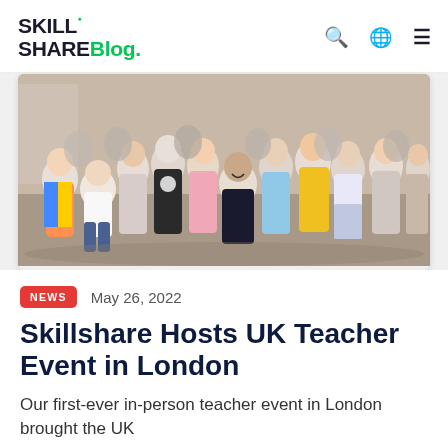Skill Share Blog.
[Figure (photo): Group photo of Skillshare UK teachers at an in-person event in London, approximately 12-15 people posing together indoors]
NEWS   May 26, 2022
Skillshare Hosts UK Teacher Event in London
Our first-ever in-person teacher event in London brought the UK